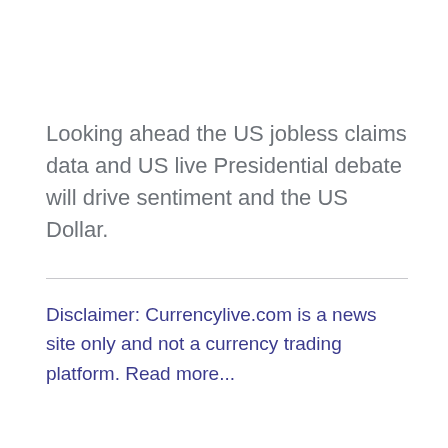Looking ahead the US jobless claims data and US live Presidential debate will drive sentiment and the US Dollar.
Disclaimer: Currencylive.com is a news site only and not a currency trading platform. Read more...